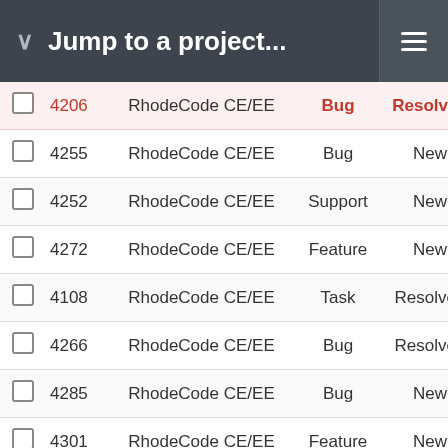Jump to a project...
|  | ID | Project | Type | Status | Priority |
| --- | --- | --- | --- | --- | --- |
|  | 4206 | RhodeCode CE/EE | Bug | Resolved | Hi |
|  | 4255 | RhodeCode CE/EE | Bug | New | Nor |
|  | 4252 | RhodeCode CE/EE | Support | New | Nor |
|  | 4272 | RhodeCode CE/EE | Feature | New | Nor |
|  | 4108 | RhodeCode CE/EE | Task | Resolved | Nor |
|  | 4266 | RhodeCode CE/EE | Bug | Resolved | Nor |
|  | 4285 | RhodeCode CE/EE | Bug | New | Nor |
|  | 4301 | RhodeCode CE/EE | Feature | New | Nor |
|  | 4003 | RhodeCode CE/EE | Task | Resolved | Nor |
|  | 4303 | RhodeCode CE/EE | Support | New | Nor |
|  | 4305 | RhodeCode CE/EE | Task | Resolved | Nor |